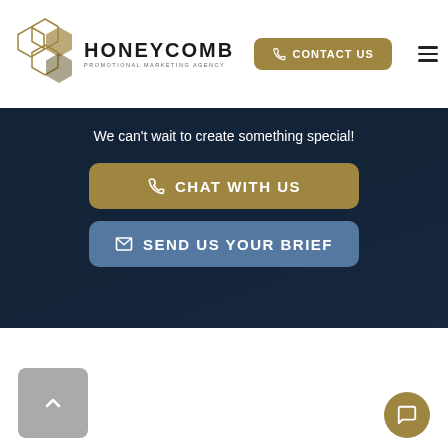HONEYCOMB PROMOTIONAL MARKETING AGENCY | CONTACT US
We can’t wait to create something special!
CHAT WITH US
SEND US YOUR BRIEF